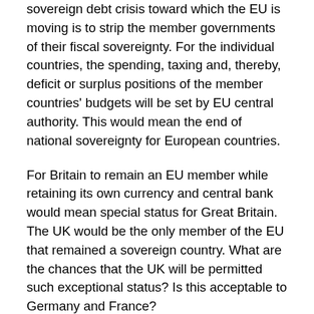sovereign debt crisis toward which the EU is moving is to strip the member governments of their fiscal sovereignty. For the individual countries, the spending, taxing and, thereby, deficit or surplus positions of the member countries' budgets will be set by EU central authority. This would mean the end of national sovereignty for European countries.
For Britain to remain an EU member while retaining its own currency and central bank would mean special status for Great Britain. The UK would be the only member of the EU that remained a sovereign country. What are the chances that the UK will be permitted such exceptional status? Is this acceptable to Germany and France?
If the British are to fold themselves into Europe, they will have to give up their currency, central bank, their law, and their economic status as a world financial center and